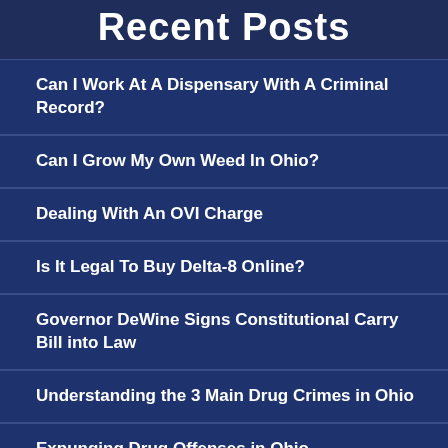Recent Posts
Can I Work At A Dispensary With A Criminal Record?
Can I Grow My Own Weed In Ohio?
Dealing With An OVI Charge
Is It Legal To Buy Delta-8 Online?
Governor DeWine Signs Constitutional Carry Bill into Law
Understanding the 3 Main Drug Crimes in Ohio
Expunging Drug Offenses in Ohio